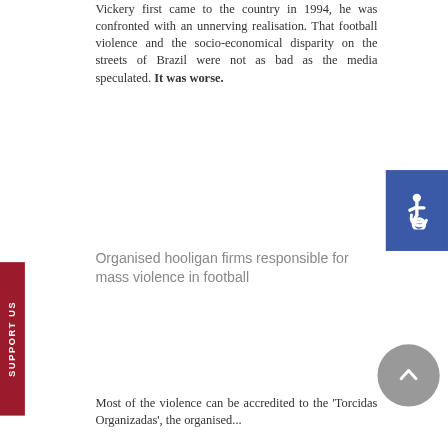Vickery first came to the country in 1994, he was confronted with an unnerving realisation. That football violence and the socio-economical disparity on the streets of Brazil were not as bad as the media speculated. It was worse.
[Figure (other): Accessibility icon button (blue background with white wheelchair symbol)]
[Figure (other): SUPPORT US vertical tab (dark red background, white text rotated 90 degrees)]
Organised hooligan firms responsible for mass violence in football
[Figure (other): Scroll to top button (grey circle with upward chevron arrow)]
Most of the violence can be accredited to the 'Torcidas Organizadas', the organised...